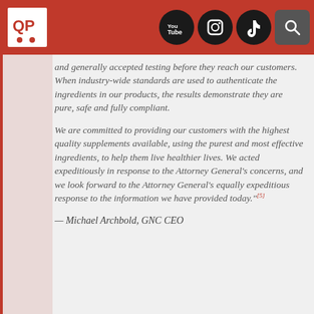GNC CEO header with logo and social media icons (YouTube, Instagram, TikTok, Search)
and generally accepted testing before they reach our customers. When industry-wide standards are used to authenticate the ingredients in our products, the results demonstrate they are pure, safe and fully compliant.

We are committed to providing our customers with the highest quality supplements available, using the purest and most effective ingredients, to help them live healthier lives. We acted expeditiously in response to the Attorney General's concerns, and we look forward to the Attorney General's equally expeditious response to the information we have provided today."[5]
— Michael Archbold, GNC CEO